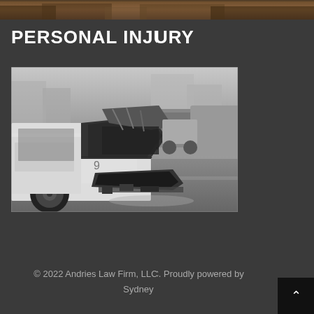[Figure (photo): Partial top of page image - brown/outdoor scene cropped at top]
PERSONAL INJURY
[Figure (photo): Black and white photograph of a severely damaged car with hood crumpled open after a collision, street scene with other vehicles in background]
© 2022 Andries Law Firm, LLC. Proudly powered by Sydney